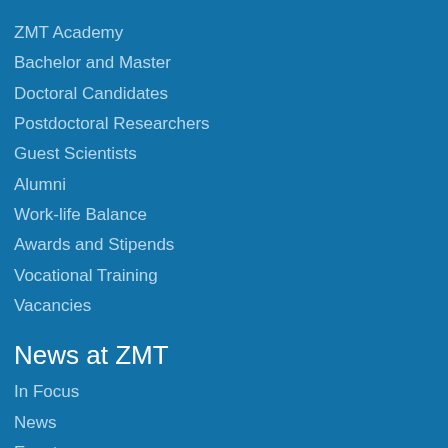ZMT Academy
Bachelor and Master
Doctoral Candidates
Postdoctoral Researchers
Guest Scientists
Alumni
Work-life Balance
Awards and Stipends
Vocational Training
Vacancies
News at ZMT
In Focus
News
Events
Science for the Public
Info and Contacts for Media